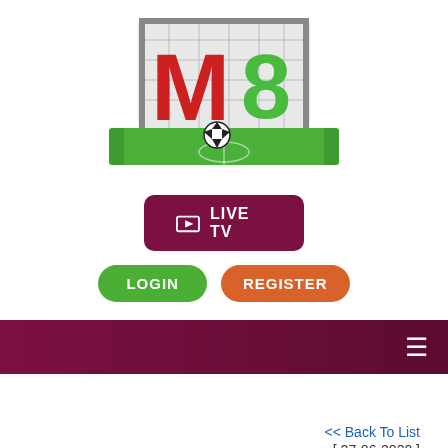[Figure (logo): M8 sports betting website logo with red M and green 8, soccer ball and goal net on green field]
[Figure (infographic): Dark red/maroon LIVE TV button with TV icon and white text]
[Figure (infographic): Green LOGIN button and orange REGISTER button]
[Figure (infographic): Dark maroon navigation bar with hamburger menu icon on the right]
<< Back To List
[ 27-06-2020 ]
MYM8WIN THE